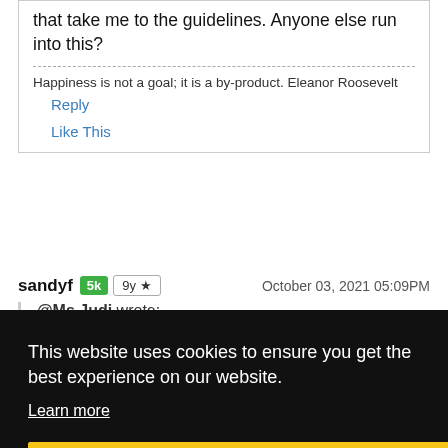that take me to the guidelines. Anyone else run into this?
Happiness is not a goal; it is a by-product. Eleanor Roosevelt
Reply
Like This
sandyf
October 03, 2021 05:09PM
@Ms Judi wrote:
This website uses cookies to ensure you get the best experience on our website.
Learn more
Got it!
seeing that anywhere.